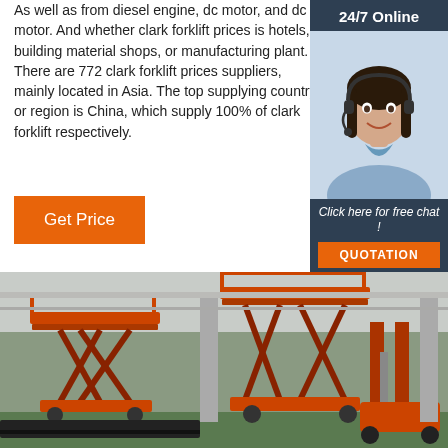As well as from diesel engine, dc motor, and dc motor. And whether clark forklift prices is hotels, building material shops, or manufacturing plant. There are 772 clark forklift prices suppliers, mainly located in Asia. The top supplying country or region is China, which supply 100% of clark forklift respectively.
[Figure (photo): Customer service agent woman wearing headset, shown in sidebar overlay with dark blue background and '24/7 Online' label]
Get Price
Click here for free chat !
QUOTATION
[Figure (photo): Orange scissor lift platforms and a forklift truck in an industrial warehouse with green floor]